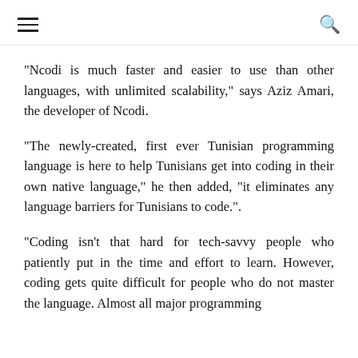[hamburger menu] [search icon]
“Ncodi is much faster and easier to use than other languages, with unlimited scalability,” says Aziz Amari, the developer of Ncodi.
“The newly-created, first ever Tunisian programming language is here to help Tunisians get into coding in their own native language,” he then added, “it eliminates any language barriers for Tunisians to code.”.
“Coding isn’t that hard for tech-savvy people who patiently put in the time and effort to learn. However, coding gets quite difficult for people who do not master the language. Almost all major programming